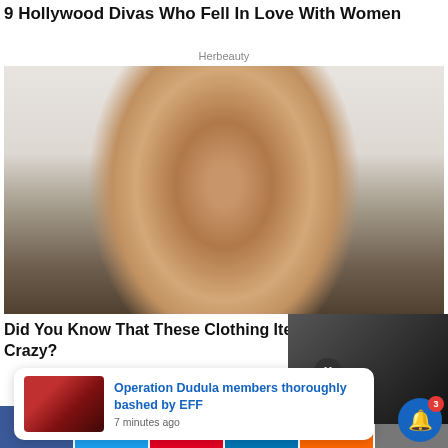9 Hollywood Divas Who Fell In Love With Women
Herbeauty
[Figure (photo): Portrait of a woman with long wavy brown hair, wearing a yellow top and silver hoop earrings and chain necklace, posed against a light background]
Did You Know That These Clothing Items Made Men Crazy?
Operation Dudula members thoroughly bashed by EFF
7 minutes ago